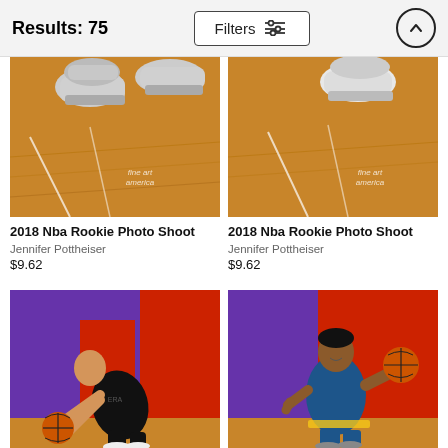Results: 75
[Figure (screenshot): Filters button with sliders icon in center of header bar]
[Figure (photo): Partial image of basketball court shoes on hardwood floor with fine art america watermark]
2018 Nba Rookie Photo Shoot
Jennifer Pottheiser
$9.62
[Figure (photo): Partial image of basketball court shoes on hardwood floor with fine art america watermark]
2018 Nba Rookie Photo Shoot
Jennifer Pottheiser
$9.62
[Figure (photo): NBA rookie player in black jersey leaning down holding basketball in front of purple and red backdrop]
[Figure (photo): NBA player in Golden State Warriors blue and yellow jersey holding basketball in front of purple and red backdrop]